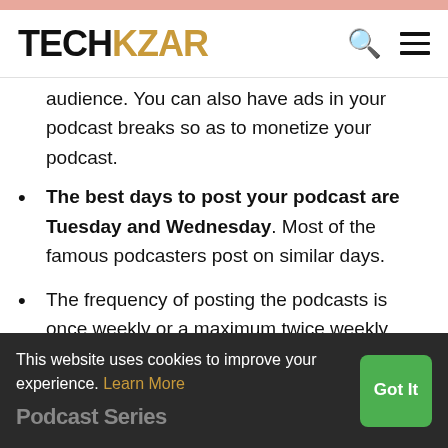TECHKZAR
audience. You can also have ads in your podcast breaks so as to monetize your podcast.
The best days to post your podcast are Tuesday and Wednesday. Most of the famous podcasters post on similar days.
The frequency of posting the podcasts is once weekly or a maximum twice weekly. Most of the popular podcasters post once or twice weekly.
Also, make sure that your editing is clean.
This website uses cookies to improve your experience. Learn More
Podcast Series